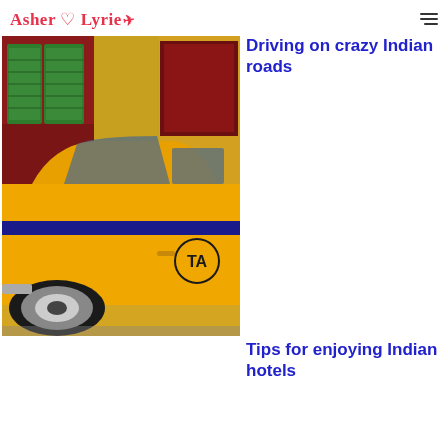Asher & Lyrie✈
[Figure (photo): Yellow Indian Ambassador taxi cab parked in front of a building with green shutters and red/maroon walls. The taxi has a blue stripe along the side and partial 'TA' lettering visible. Classic vintage car style.]
Driving on crazy Indian roads
Tips for enjoying Indian hotels